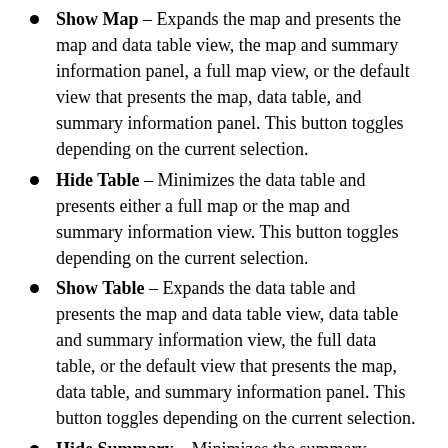Show Map – Expands the map and presents the map and data table view, the map and summary information panel, a full map view, or the default view that presents the map, data table, and summary information panel. This button toggles depending on the current selection.
Hide Table – Minimizes the data table and presents either a full map or the map and summary information view. This button toggles depending on the current selection.
Show Table – Expands the data table and presents the map and data table view, data table and summary information view, the full data table, or the default view that presents the map, data table, and summary information panel. This button toggles depending on the current selection.
Hide Summary – Minimizes the summary information panel and presents the map and data